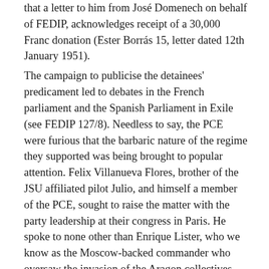that a letter to him from José Domenech on behalf of FEDIP, acknowledges receipt of a 30,000 Franc donation (Ester Borrás 15, letter dated 12th January 1951). The campaign to publicise the detainees' predicament led to debates in the French parliament and the Spanish Parliament in Exile (see FEDIP 127/8). Needless to say, the PCE were furious that the barbaric nature of the regime they supported was being brought to popular attention. Felix Villanueva Flores, brother of the JSU affiliated pilot Julio, and himself a member of the PCE, sought to raise the matter with the party leadership at their congress in Paris. He spoke to none other than Enrique Lister, who we know as the Moscow-backed commander who oversaw the invasion of the Aragon collectives and the summary detention and execution of anarchist militants in 1937.